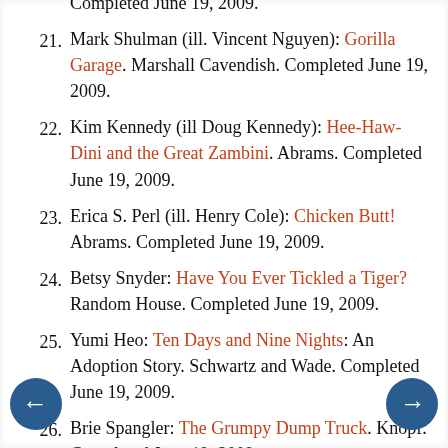21. Mark Shulman (ill. Vincent Nguyen): Gorilla Garage. Marshall Cavendish. Completed June 19, 2009.
22. Kim Kennedy (ill Doug Kennedy): Hee-Haw-Dini and the Great Zambini. Abrams. Completed June 19, 2009.
23. Erica S. Perl (ill. Henry Cole): Chicken Butt! Abrams. Completed June 19, 2009.
24. Betsy Snyder: Have You Ever Tickled a Tiger? Random House. Completed June 19, 2009.
25. Yumi Heo: Ten Days and Nine Nights: An Adoption Story. Schwartz and Wade. Completed June 19, 2009.
26. Brie Spangler: The Grumpy Dump Truck. Knopf. Completed June 19, 2009.
27. Nancy Davis: A Garden of Opposites.